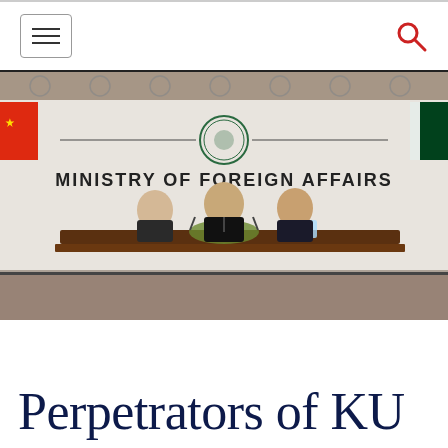[Figure (photo): Press conference at the Ministry of Foreign Affairs, Pakistan. Three officials seated at a table with microphones and floral arrangement. Pakistani and Chinese flags visible on either side. A banner reads 'MINISTRY OF FOREIGN AFFAIRS' with the official seal above it. Decorative geometric wall panels in the background.]
Perpetrators of KU